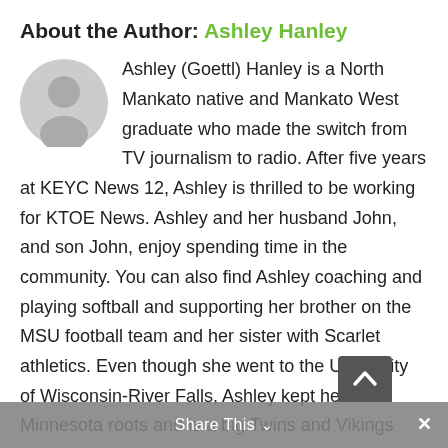About the Author: Ashley Hanley
Ashley (Goettl) Hanley is a North Mankato native and Mankato West graduate who made the switch from TV journalism to radio. After five years at KEYC News 12, Ashley is thrilled to be working for KTOE News. Ashley and her husband John, and son John, enjoy spending time in the community. You can also find Ashley coaching and playing softball and supporting her brother on the MSU football team and her sister with Scarlet athletics. Even though she went to the University of Wisconsin-River Falls, Ashley kept her Minnesota roots and is a big Twins and Vikings fan!
Share This ∨  ×